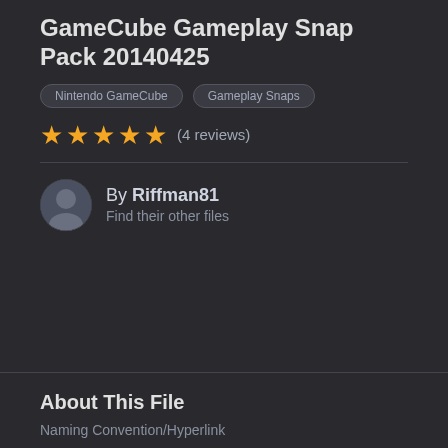GameCube Gameplay Snap Pack 20140425
Nintendo GameCube
Gameplay Snaps
★★★★★ (4 reviews)
By Riffman81
Find their other files
About This File
Naming Convention/Hyperlink